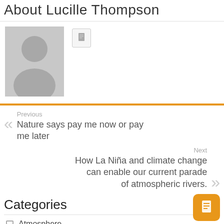About Lucille Thompson
[Figure (photo): Gray placeholder avatar with silhouette of a person (head and shoulders)]
Previous
Nature says pay me now or pay me later
Next
How La Niña and climate change can enable our current parade of atmospheric rivers.
Categories
Atmosphere
Biosphere
Finance Debt